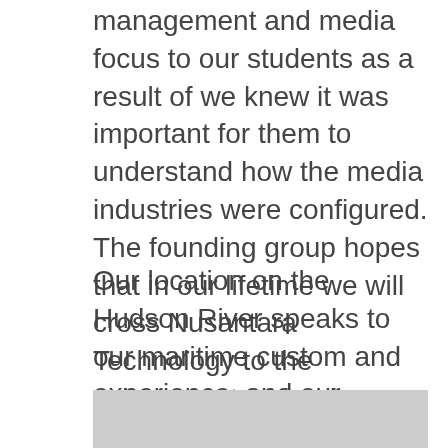management and media focus to our students as a result of we knew it was important for them to understand how the media industries were configured. The founding group hopes that in our lifetime we will cross Nusantara Technology to the subsequent technology.
Our location on the Hudson River speaks to our maritime custom and experience, and our proximity to New York Metropolis offers a gateway to profession and entrepreneurial alternatives in commerce, finance, media, art, fashion, analysis, technology, schooling and leisure.
[Figure (other): Gray placeholder image area with a circular scroll-to-top button (chevron up icon) in the upper right corner]